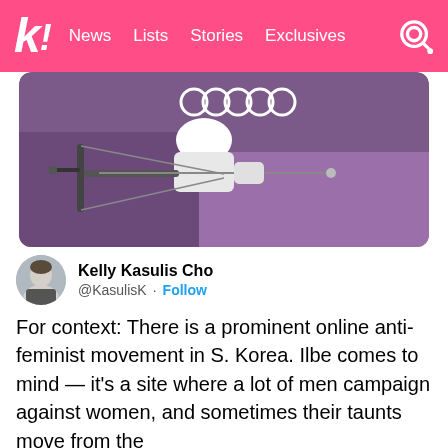k! News Lists Stories Exclusives
[Figure (photo): An archer wearing a white hat and white uniform drawing a recurve bow, with Olympic rings visible in the purple background.]
Kelly Kasulis Cho @KasulisK · Follow
For context: There is a prominent online anti-feminist movement in S. Korea. Ilbe comes to mind — it's a site where a lot of men campaign against women, and sometimes their taunts move from the